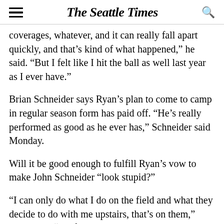The Seattle Times
coverages, whatever, and it can really fall apart quickly, and that’s kind of what happened,” he said. “But I felt like I hit the ball as well last year as I ever have.”
Brian Schneider says Ryan’s plan to come to camp in regular season form has paid off. “He’s really performed as good as he ever has,” Schneider said Monday.
Will it be good enough to fulfill Ryan’s vow to make John Schneider “look stupid?”
“I can only do what I do on the field and what they decide to do with me upstairs, that’s on them,” Ryan said. “So if I am here I’m going to compete my ass